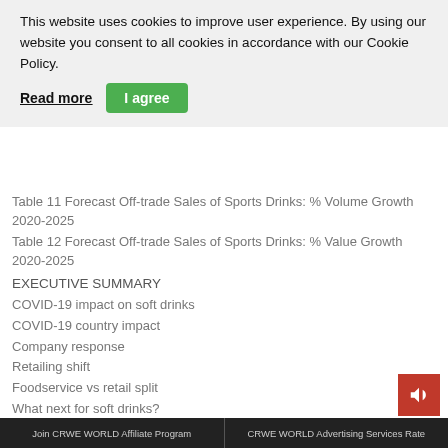This website uses cookies to improve user experience. By using our website you consent to all cookies in accordance with our Cookie Policy.
Read more | I agree
Table 11 Forecast Off-trade Sales of Sports Drinks: % Volume Growth 2020-2025
Table 12 Forecast Off-trade Sales of Sports Drinks: % Value Growth 2020-2025
EXECUTIVE SUMMARY
COVID-19 impact on soft drinks
COVID-19 country impact
Company response
Retailing shift
Foodservice vs retail split
What next for soft drinks?
CHART 1 Soft Drinks Off-Trade Volume Sales Growth Scenarios: 2018-2025
CHART 2 Soft Drinks On-Trade Volume Sales Growth Scenarios: 2018-2025